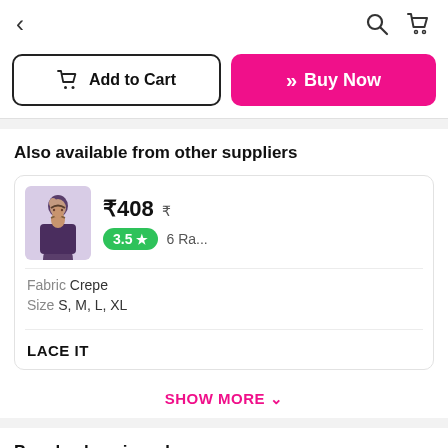< (back) | (search) (cart)
Add to Cart | Buy Now
Also available from other suppliers
₹408 ₹
3.5 ★ 6 Ra...
Fabric Crepe
Size S, M, L, XL
LACE IT
SHOW MORE ∨
People also viewed